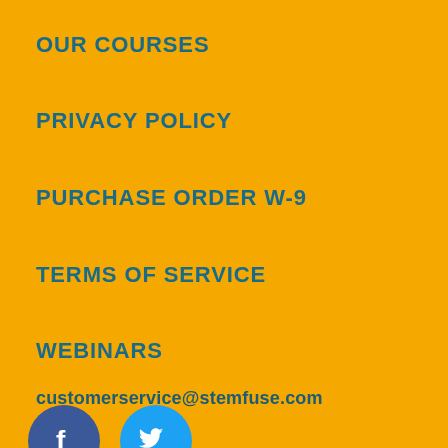OUR COURSES
PRIVACY POLICY
PURCHASE ORDER W-9
TERMS OF SERVICE
WEBINARS
customerservice@stemfuse.com
[Figure (other): Facebook and Twitter social media icons]